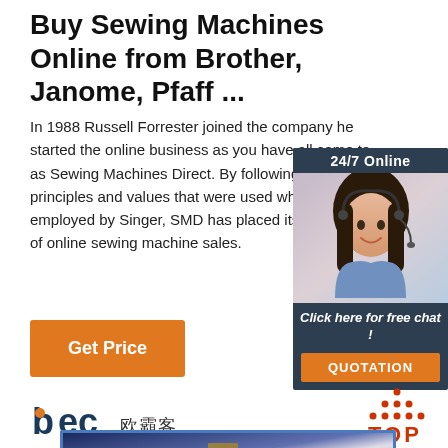Buy Sewing Machines Online from Brother, Janome, Pfaff ...
In 1988 Russell Forrester joined the company he started the online business as you have all come to as Sewing Machines Direct. By following the principles and values that were used when he employed by Singer, SMD has placed itself at the forefront of online sewing machine sales.
[Figure (infographic): Customer service chat widget with 24/7 Online label, photo of female agent with headset, Click here for free chat! text, and QUOTATION orange button]
[Figure (logo): BEC 欧霸客 logo - stylized text with orange/dark teal colors]
[Figure (infographic): Red TOP button with upward pointing triangle dots icon]
[Figure (photo): Partial view of sewing machine or related product in a blue-bordered image panel]